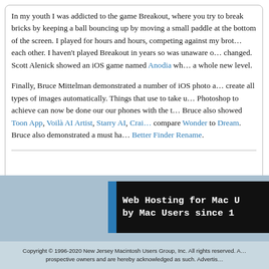In my youth I was addicted to the game Breakout, where you try to break bricks by keeping a ball bouncing up by moving a small paddle at the bottom of the screen. I played for hours and hours, competing against my brother to beat each other. I haven't played Breakout in years so was unaware of how much it changed. Scott Alenick showed an iOS game named Anodia wh… a whole new level.
Finally, Bruce Mittelman demonstrated a number of iOS photo a… create all types of images automatically. Things that use to take m… Photoshop to achieve can now be done our our phones with the t… Bruce also showed Toon App, Voilà AI Artist, Starry AI, Crai… compare Wonder to Dream. Bruce also demonstrated a must ha… Better Finder Rename.
[Figure (other): Web Hosting for Mac [Users] by Mac Users since [year] — advertisement banner with black background and blue left bar]
Copyright © 1996-2020 New Jersey Macintosh Users Group, Inc. All rights reserved. A… prospective owners and are hereby acknowledged as such. Advertis…